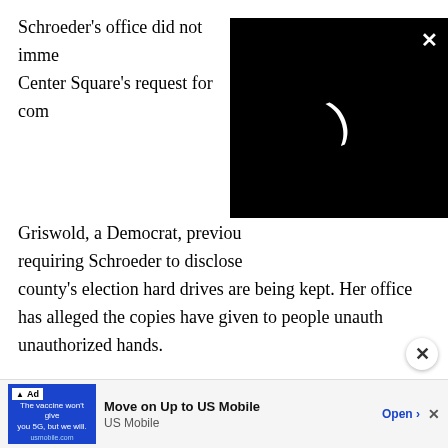Schroeder's office did not imme Center Square's request for com
[Figure (screenshot): Black video player overlay with loading spinner (white curved arc) and an X close button in top-right corner]
Griswold, a Democrat, previou requiring Schroeder to disclose county's election hard drives are being kept. Her office has alleged the copies have given to people unauth unauthorized hands.
“Critical information regarding the unauthorized imaging of Elbert County’s voting system hard drives has not been disclosed by Clerk Schroeder and the copies of the hard
[Figure (screenshot): Advertisement bar: blue image box with 'Ad' label and text 'The vaccine won't give you 5G, but we will. usmobile.com' alongside 'Move on Up to US Mobile' with Open button and X close]
Ad | Move on Up to US Mobile | US Mobile | Open